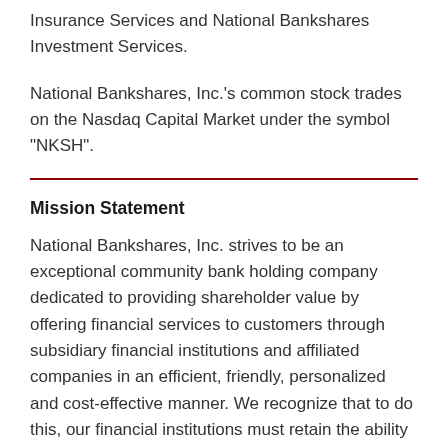Insurance Services and National Bankshares Investment Services.
National Bankshares, Inc.'s common stock trades on the Nasdaq Capital Market under the symbol "NKSH".
Mission Statement
National Bankshares, Inc. strives to be an exceptional community bank holding company dedicated to providing shareholder value by offering financial services to customers through subsidiary financial institutions and affiliated companies in an efficient, friendly, personalized and cost-effective manner. We recognize that to do this, our financial institutions must retain the ability to make decisions locally and must actively participate